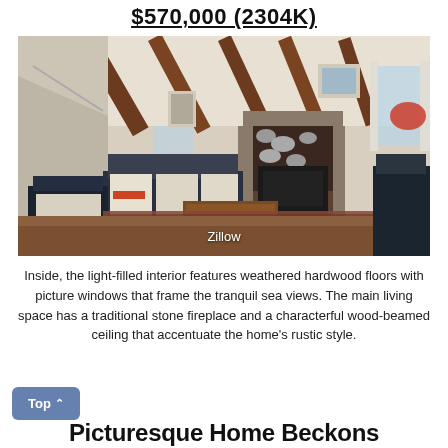$570,000 (2304K)
[Figure (photo): Interior living room of a rustic cottage with wood-beamed ceiling, wicker furniture, stone fireplace, hardwood floors, and a Persian rug. Watermark 'Zillow' overlaid at bottom center.]
Inside, the light-filled interior features weathered hardwood floors with picture windows that frame the tranquil sea views. The main living space has a traditional stone fireplace and a characterful wood-beamed ceiling that accentuate the home's rustic style.
Picturesque Home Beckons